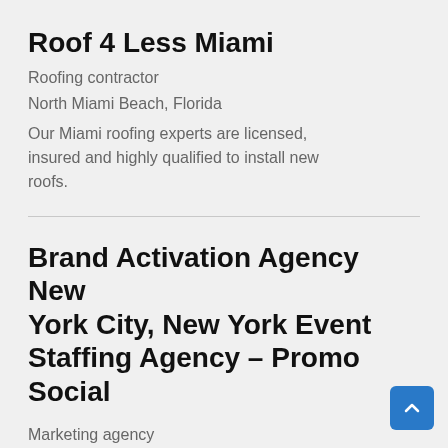Roof 4 Less Miami
Roofing contractor
North Miami Beach, Florida
Our Miami roofing experts are licensed, insured and highly qualified to install new roofs.
Brand Activation Agency New York City, New York Event Staffing Agency – Promo Social
Marketing agency
Scottsdale, Arizona